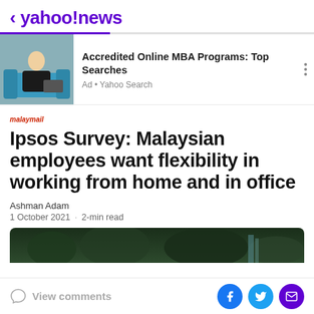< yahoo!news
[Figure (screenshot): Yahoo News app interface showing an advertisement for Accredited Online MBA Programs from Yahoo Search, with a photo of a woman sitting on a blue couch.]
Accredited Online MBA Programs: Top Searches
Ad • Yahoo Search
malaymail
Ipsos Survey: Malaysian employees want flexibility in working from home and in office
Ashman Adam
1 October 2021 · 2-min read
[Figure (photo): Partial photo showing a lush green forest scene with dark tones, article header image.]
View comments